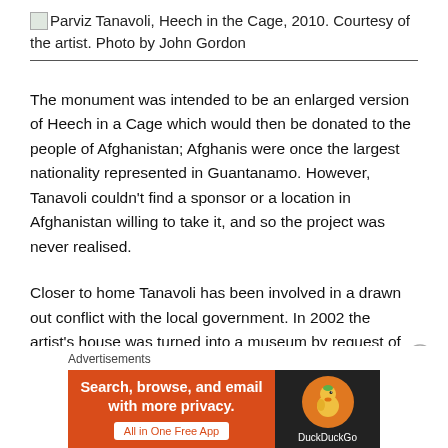Parviz Tanavoli, Heech in the Cage, 2010. Courtesy of the artist. Photo by John Gordon
The monument was intended to be an enlarged version of Heech in a Cage which would then be donated to the people of Afghanistan; Afghanis were once the largest nationality represented in Guantanamo. However, Tanavoli couldn't find a sponsor or a location in Afghanistan willing to take it, and so the project was never realised.
Closer to home Tanavoli has been involved in a drawn out conflict with the local government. In 2002 the artist's house was turned into a museum by request of the city of Tehran with the backing of then Mayor Mohammad-
[Figure (other): DuckDuckGo advertisement banner: orange background with text 'Search, browse, and email with more privacy. All in One Free App' and DuckDuckGo logo on dark background]